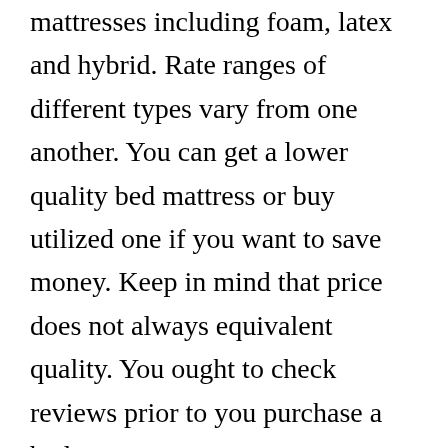mattresses including foam, latex and hybrid. Rate ranges of different types vary from one another. You can get a lower quality bed mattress or buy utilized one if you want to save money. Keep in mind that price does not always equivalent quality. You ought to check reviews prior to you purchase a bed mattress.
The type of material used in a mattress determines its expense. Natural products are usually more expensive than synthetic ones. Another aspect that impacts cost is the density of the foam. A high-density foam mattress will usually cost more than a lower